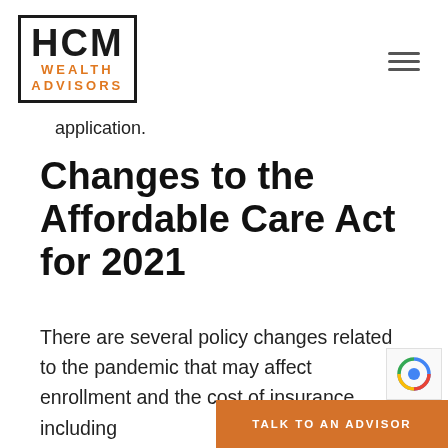HCM WEALTH ADVISORS
application.
Changes to the Affordable Care Act for 2021
There are several policy changes related to the pandemic that may affect enrollment and the cost of insurance, including